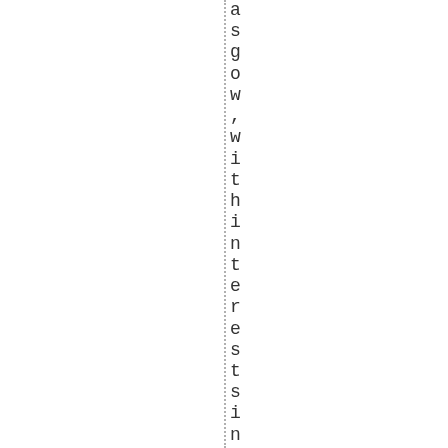asgow, with interests including su